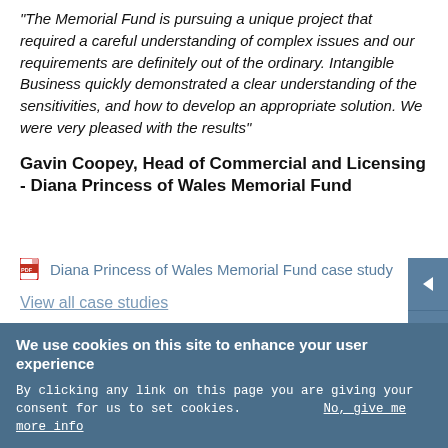"The Memorial Fund is pursuing a unique project that required a careful understanding of complex issues and our requirements are definitely out of the ordinary. Intangible Business quickly demonstrated a clear understanding of the sensitivities, and how to develop an appropriate solution. We were very pleased with the results"
Gavin Coopey, Head of Commercial and Licensing - Diana Princess of Wales Memorial Fund
Diana Princess of Wales Memorial Fund case study
View all case studies
We use cookies on this site to enhance your user experience
By clicking any link on this page you are giving your consent for us to set cookies. No, give me more info